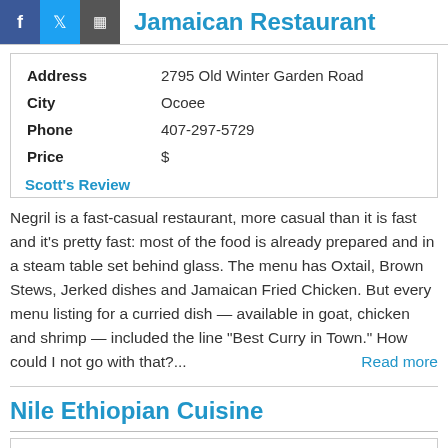Jamaican Restaurant
| Field | Value |
| --- | --- |
| Address | 2795 Old Winter Garden Road |
| City | Ocoee |
| Phone | 407-297-5729 |
| Price | $ |
Scott's Review
Negril is a fast-casual restaurant, more casual than it is fast and it's pretty fast: most of the food is already prepared and in a steam table set behind glass. The menu has Oxtail, Brown Stews, Jerked dishes and Jamaican Fried Chicken. But every menu listing for a curried dish — available in goat, chicken and shrimp — included the line “Best Curry in Town.” How could I not go with that?... Read more
Nile Ethiopian Cuisine
| Field | Value |
| --- | --- |
| Address | 7040 International Drive
(north of Sand Lake Road) |
| City | Orlando |
| Phone | 407-354-0026 |